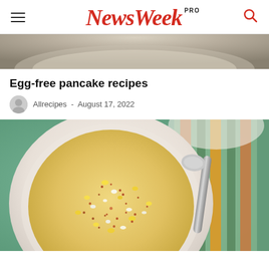NewsWeek PRO
[Figure (photo): Partial view of a ceramic bowl from above, neutral background, cropped at top of page]
Egg-free pancake recipes
Allrecipes - August 17, 2022
[Figure (photo): Overhead view of a white bowl containing a creamy corn soup or chowder garnished with corn kernels, crumbled cheese, and red spice, set on a green surface with a striped cloth napkin and a metal spoon to the right]